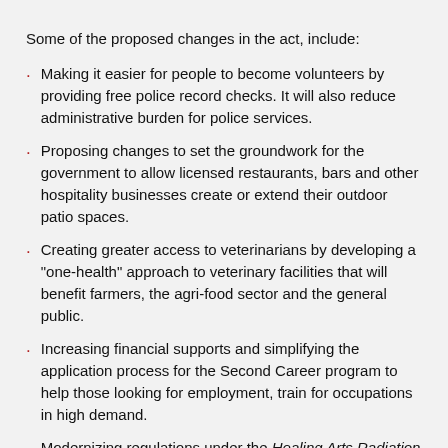Some of the proposed changes in the act, include:
Making it easier for people to become volunteers by providing free police record checks. It will also reduce administrative burden for police services.
Proposing changes to set the groundwork for the government to allow licensed restaurants, bars and other hospitality businesses create or extend their outdoor patio spaces.
Creating greater access to veterinarians by developing a “one-health” approach to veterinary facilities that will benefit farmers, the agri-food sector and the general public.
Increasing financial supports and simplifying the application process for the Second Career program to help those looking for employment, train for occupations in high demand.
Modernizing regulations under the Healing Arts Radiation